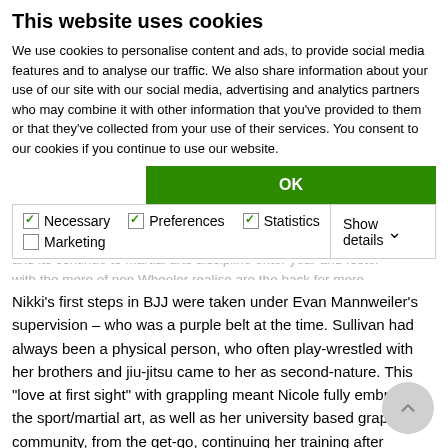This website uses cookies
We use cookies to personalise content and ads, to provide social media features and to analyse our traffic. We also share information about your use of our site with our social media, advertising and analytics partners who may combine it with other information that you've provided to them or that they've collected from your use of their services. You consent to our cookies if you continue to use our website.
OK
Necessary  Preferences  Statistics  Marketing  Show details
Nikki's first steps in BJJ were taken under Evan Mannweiler's supervision – who was a purple belt at the time. Sullivan had always been a physical person, who often play-wrestled with her brothers and jiu-jitsu came to her as second-nature. This “love at first sight” with grappling meant Nicole fully embraced the sport/martial art, as well as her university based grappling community, from the get-go, continuing her training after graduation.